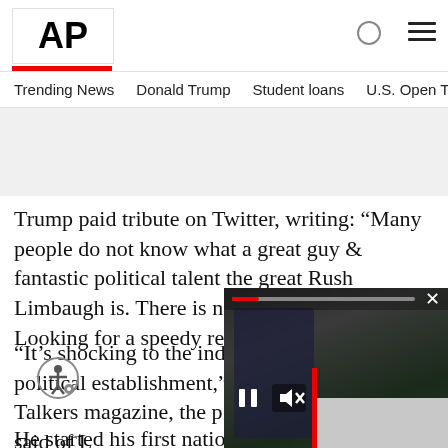AP
Trending News   Donald Trump   Student loans   U.S. Open Tenn
Trump paid tribute on Twitter, writing: “Many people do not know what a great guy & fantastic political talent the great Rush Limbaugh is. There is nobody like him. Looking for a speedy recovery for
“It’s shocking to the industry, and to the political establishment,” Mi publisher of Talkers magazine, the p tion for talk radio, said of L
He started his first national radio s
[Figure (screenshot): Video player overlay showing a man in a suit outdoors, with video progress bar, pause button, mute button, and close (x) button]